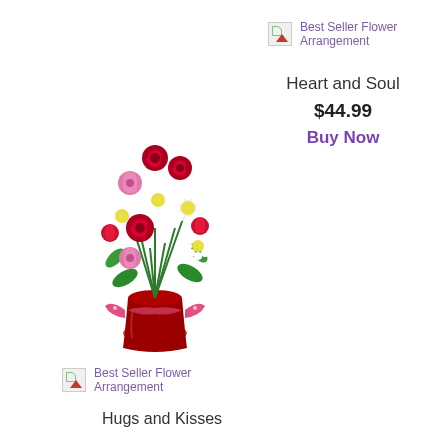[Figure (other): Broken image icon for Best Seller Flower Arrangement badge - top right product (Heart and Soul)]
Best Seller Flower Arrangement
Heart and Soul
$44.99
Buy Now
[Figure (photo): Flower arrangement in a red vase with a pink ribbon bow, containing red roses, pink carnations, and white daisies with green foliage]
[Figure (other): Broken image icon for Best Seller Flower Arrangement badge - bottom left product (Hugs and Kisses)]
Best Seller Flower Arrangement
Hugs and Kisses